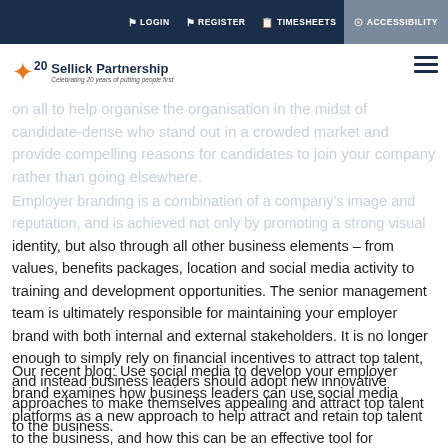LOGIN  REGISTER  TIMESHEETS  ACCESSIBILITY
[Figure (logo): Sellick Partnership logo with star icon and '20' anniversary mark, tagline 'Celebrating 20 years of putting people first']
on all to help organise the organisation in the midst of candidate-dense who stand out in a crowded market and provide compelling reasons for candidates to join your company rather than going elsewhere.
Employer branding is a combination of a company's image and reputation, and is achieved not only by promoting a strong visual identity, but also through all other business elements – from values, benefits packages, location and social media activity to training and development opportunities. The senior management team is ultimately responsible for maintaining your employer brand with both internal and external stakeholders. It is no longer enough to simply rely on financial incentives to attract top talent, and instead business leaders should adopt new innovative approaches to make themselves appealing and attract top talent to the business.
Our recent blog: Use social media to develop your employer brand examines how business leaders can use social media platforms as a new approach to help attract and retain top talent to the business, and how this can be an effective tool for employee retention.